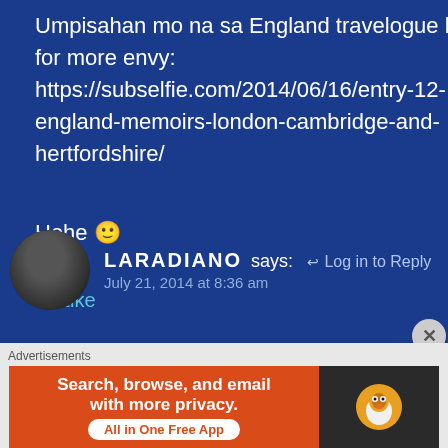Umpisahan mo na sa England travelogue ko, for more envy: https://subselfie.com/2014/06/16/entry-12-england-memoirs-london-cambridge-and-hertfordshire/
Hehe 🙂
★ Like
LARADIANO says:  ↵ Log in to Reply  July 21, 2014 at 8:36 am
[Figure (photo): Circular avatar photo of a person (LARADIANO)]
Advertisements  Search, browse, and email with more privacy. All in One Free App  DuckDuckGo